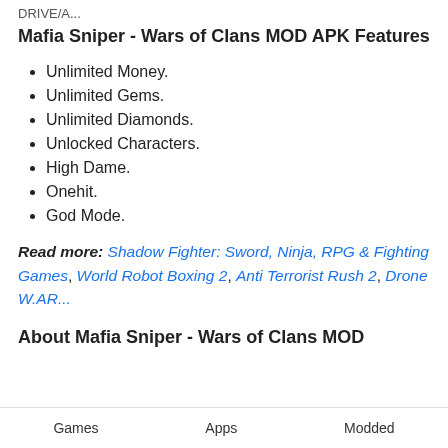DRIVE/A...
Mafia Sniper - Wars of Clans MOD APK Features
Unlimited Money.
Unlimited Gems.
Unlimited Diamonds.
Unlocked Characters.
High Dame.
Onehit.
God Mode.
Read more: Shadow Fighter: Sword, Ninja, RPG & Fighting Games, World Robot Boxing 2, Anti Terrorist Rush 2, Drone W.AR...
About Mafia Sniper - Wars of Clans MOD APK
Games   Apps   Modded